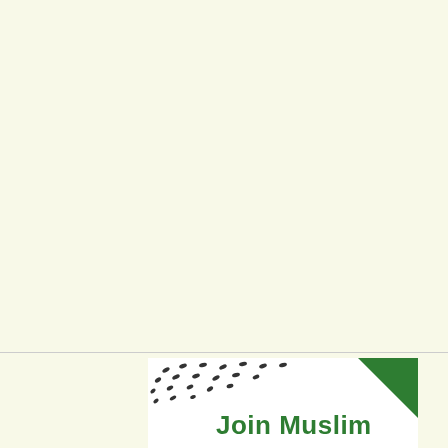[Figure (logo): Partial logo card with scattered dot pattern on the left, a green triangle in the upper right corner, and bold green text reading 'Join Muslim' at the bottom]